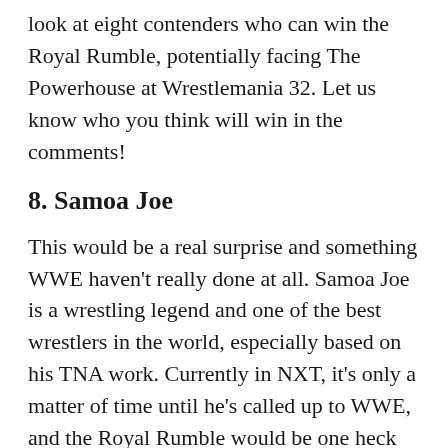look at eight contenders who can win the Royal Rumble, potentially facing The Powerhouse at Wrestlemania 32. Let us know who you think will win in the comments!
8. Samoa Joe
This would be a real surprise and something WWE haven't really done at all. Samoa Joe is a wrestling legend and one of the best wrestlers in the world, especially based on his TNA work. Currently in NXT, it's only a matter of time until he's called up to WWE, and the Royal Rumble would be one heck of a way to introduce him.
Joe definitely has the credentials to be a main eventer and is one of the few figures who may actually be able to go head to head with Brock Lesnar. However, this is still a